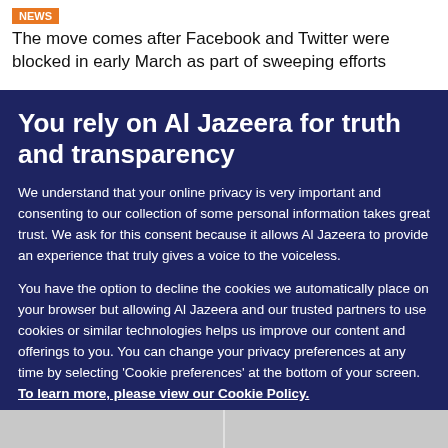The move comes after Facebook and Twitter were blocked in early March as part of sweeping efforts
You rely on Al Jazeera for truth and transparency
We understand that your online privacy is very important and consenting to our collection of some personal information takes great trust. We ask for this consent because it allows Al Jazeera to provide an experience that truly gives a voice to the voiceless.
You have the option to decline the cookies we automatically place on your browser but allowing Al Jazeera and our trusted partners to use cookies or similar technologies helps us improve our content and offerings to you. You can change your privacy preferences at any time by selecting ‘Cookie preferences’ at the bottom of your screen. To learn more, please view our Cookie Policy.